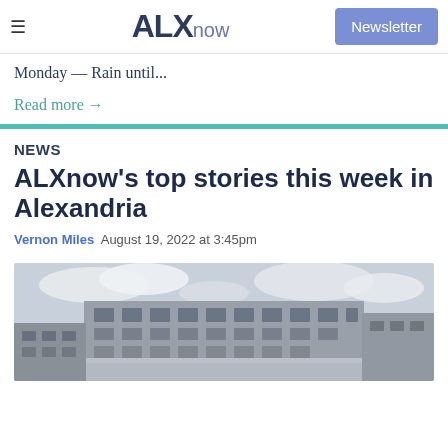ALXnow — Newsletter button
Monday — Rain until...
Read more →
NEWS
ALXnow's top stories this week in Alexandria
Vernon Miles  August 19, 2022 at 3:45pm
[Figure (photo): Exterior photograph of a multi-story office or government building with large windows against a cloudy sky]